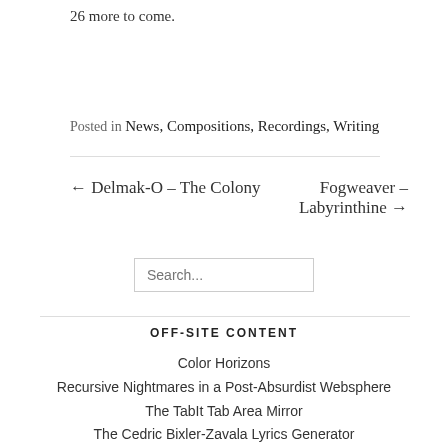26 more to come.
Posted in News, Compositions, Recordings, Writing
← Delmak-O – The Colony
Fogweaver – Labyrinthine →
OFF-SITE CONTENT
Color Horizons
Recursive Nightmares in a Post-Absurdist Websphere
The TabIt Tab Area Mirror
The Cedric Bixler-Zavala Lyrics Generator
Talk2AI